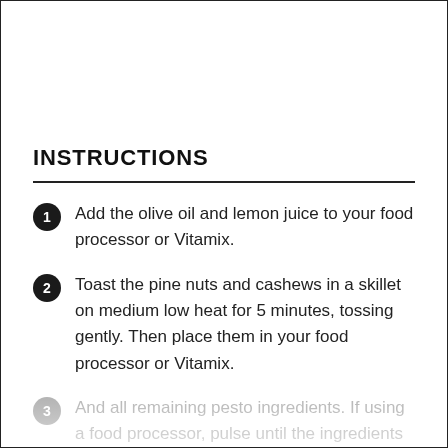INSTRUCTIONS
Add the olive oil and lemon juice to your food processor or Vitamix.
Toast the pine nuts and cashews in a skillet on medium low heat for 5 minutes, tossing gently. Then place them in your food processor or Vitamix.
And all remaining pesto ingredients. If using a food processor, pulse until the ingredients